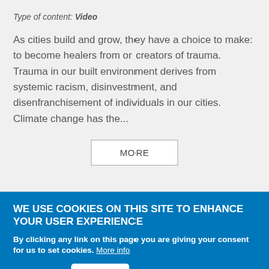Type of content: Video
As cities build and grow, they have a choice to make: to become healers from or creators of trauma. Trauma in our built environment derives from systemic racism, disinvestment, and disenfranchisement of individuals in our cities. Climate change has the...
MORE
WE USE COOKIES ON THIS SITE TO ENHANCE YOUR USER EXPERIENCE
By clicking any link on this page you are giving your consent for us to set cookies. More info
OK, I agree
Decline